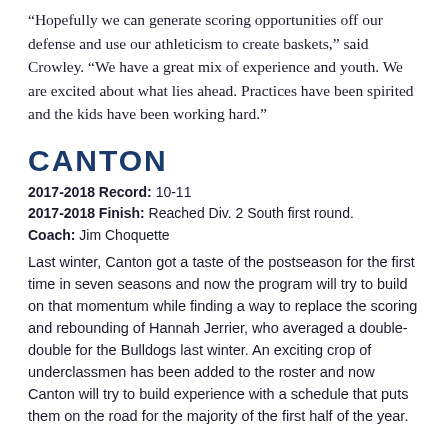“Hopefully we can generate scoring opportunities off our defense and use our athleticism to create baskets,” said Crowley. “We have a great mix of experience and youth. We are excited about what lies ahead. Practices have been spirited and the kids have been working hard.”
CANTON
2017-2018 Record: 10-11
2017-2018 Finish: Reached Div. 2 South first round.
Coach: Jim Choquette
Last winter, Canton got a taste of the postseason for the first time in seven seasons and now the program will try to build on that momentum while finding a way to replace the scoring and rebounding of Hannah Jerrier, who averaged a double-double for the Bulldogs last winter. An exciting crop of underclassmen has been added to the roster and now Canton will try to build experience with a schedule that puts them on the road for the majority of the first half of the year.